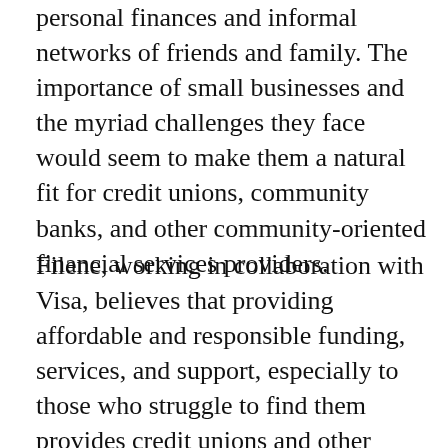personal finances and informal networks of friends and family. The importance of small businesses and the myriad challenges they face would seem to make them a natural fit for credit unions, community banks, and other community-oriented financial services providers.
Filene, working in collaboration with Visa, believes that providing affordable and responsible funding, services, and support, especially to those who struggle to find them provides credit unions and other community- oriented financial institutions with unparalleled opportunities—to improve financial lives of consumers and the well-being